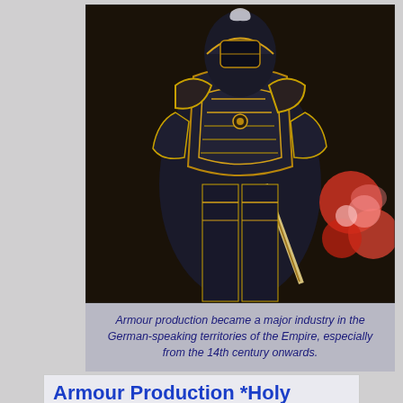[Figure (photo): A painting or photograph of a knight in ornate armor decorated with gold trim and embellishments, holding a weapon, with colorful floral elements visible on the right side.]
Armour production became a major industry in the German-speaking territories of the Empire, especially from the 14th century onwards.
Armour Production *Holy Roman Empire
Armour production became a major industry in the German-speaking territories of the